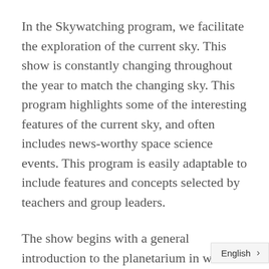In the Skywatching program, we facilitate the exploration of the current sky. This show is constantly changing throughout the year to match the changing sky. This program highlights some of the interesting features of the current sky, and often includes news-worthy space science events. This program is easily adaptable to include features and concepts selected by teachers and group leaders.
The show begins with a general introduction to the planetarium in which we describe how the planetarium projector helps us to simulate the sky, and that we can set it to show us what the sky would look like on a specific date and time, and from a specific location. For most Skywatching p[...] we use Madison, or the group's home co[...]